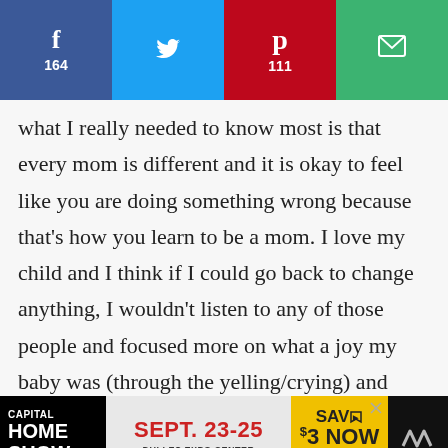[Figure (infographic): Social share bar with four buttons: Facebook (164 shares, dark blue), Twitter (blue), Pinterest (111 saves, red), Email (green)]
what I really needed to know most is that every mom is different and it is okay to feel like you are doing something wrong because that's how you learn to be a mom. I love my child and I think if I could go back to change anything, I wouldn't listen to any of those people and focused more on what a joy my baby was (through the yelling/crying) and held him more and been more loving because looking back I know there is ABSOLUTELY nothing wrong with loving your child so much
[Figure (infographic): Advertisement banner: Capital Home Show, Sept. 23-25, Dulles Expo Center, Save $3 Now, Buy Now button]